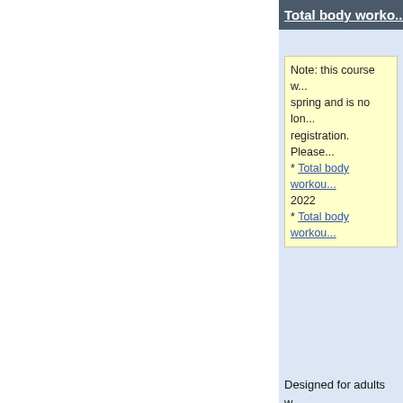Total body worko...
Note: this course w... spring and is no lon... registration. Please... * Total body workou... 2022 * Total body workou...
Designed for adults w... low vision. Aerobic w... high cardio sets, con... strengthening exerci... work, relaxation and...